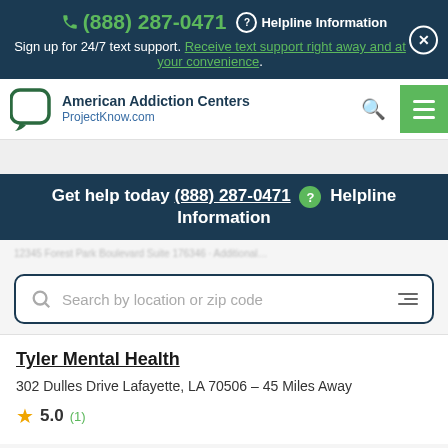(888) 287-0471  Helpline Information
Sign up for 24/7 text support. Receive text support right away and at your convenience.
[Figure (logo): American Addiction Centers / ProjectKnow.com logo with speech bubble icon]
Get help today (888) 287-0471  Helpline Information
Search by location or zip code
Tyler Mental Health
302 Dulles Drive Lafayette, LA 70506 – 45 Miles Away
5.0 (1)